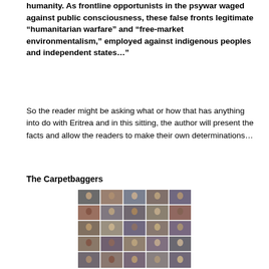humanity. As frontline opportunists in the psywar waged against public consciousness, these false fronts legitimate “humanitarian warfare” and “free-market environmentalism,” employed against indigenous peoples and independent states…”
So the reader might be asking what or how that has anything into do with Eritrea and in this sitting, the author will present the facts and allow the readers to make their own determinations…
The Carpetbaggers
[Figure (photo): A collage of many photographs showing various people at conferences, speaking events, and gatherings — diverse group of individuals in formal and semi-formal settings.]